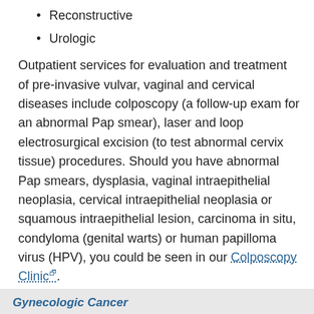Reconstructive
Urologic
Outpatient services for evaluation and treatment of pre-invasive vulvar, vaginal and cervical diseases include colposcopy (a follow-up exam for an abnormal Pap smear), laser and loop electrosurgical excision (to test abnormal cervix tissue) procedures. Should you have abnormal Pap smears, dysplasia, vaginal intraepithelial neoplasia, cervical intraepithelial neoplasia or squamous intraepithelial lesion, carcinoma in situ, condyloma (genital warts) or human papilloma virus (HPV), you could be seen in our Colposcopy Clinic.
Choose the University of Michigan for treatment of gynecologic cancer. Make an Appointment or call our nurses at Cancer AnswerLine at 800-865-1125.
Gynecologic Cancer